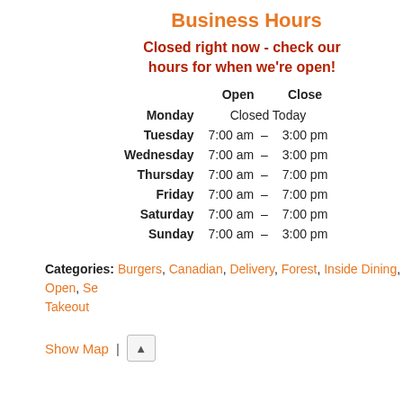Business Hours
Closed right now - check our hours for when we're open!
|  | Open | Close |
| --- | --- | --- |
| Monday | Closed Today |  |
| Tuesday | 7:00 am | 3:00 pm |
| Wednesday | 7:00 am | 3:00 pm |
| Thursday | 7:00 am | 7:00 pm |
| Friday | 7:00 am | 7:00 pm |
| Saturday | 7:00 am | 7:00 pm |
| Sunday | 7:00 am | 3:00 pm |
Categories: Burgers, Canadian, Delivery, Forest, Inside Dining, Open, Se... Takeout
Show Map | ▲